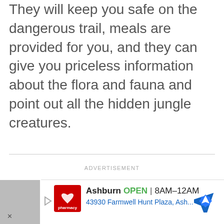They will keep you safe on the dangerous trail, meals are provided for you, and they can give you priceless information about the flora and fauna and point out all the hidden jungle creatures.
ADVERTISEMENT
[Figure (other): CVS Pharmacy advertisement banner showing Ashburn location OPEN 8AM-12AM at 43930 Farmwell Hunt Plaza, Ash...]